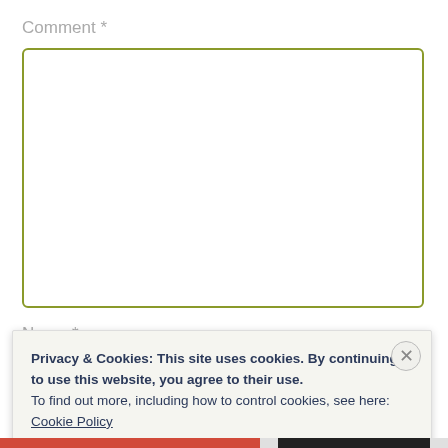Comment *
[Figure (other): Empty text area input box with olive/yellow-green border]
Name *
[Figure (other): Empty name input box with olive/yellow-green border, partially hidden behind cookie notice]
Privacy & Cookies: This site uses cookies. By continuing to use this website, you agree to their use.
To find out more, including how to control cookies, see here:
Cookie Policy
Close and accept